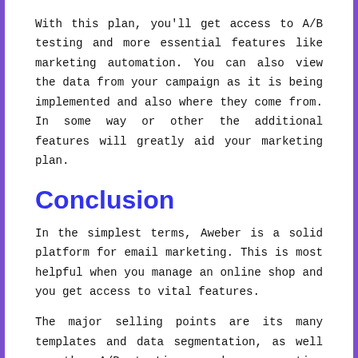With this plan, you'll get access to A/B testing and more essential features like marketing automation. You can also view the data from your campaign as it is being implemented and also where they come from. In some way or other the additional features will greatly aid your marketing plan.
Conclusion
In the simplest terms, Aweber is a solid platform for email marketing. This is most helpful when you manage an online shop and you get access to vital features.
The major selling points are its many templates and data segmentation, as well as the A/B testing, and a reporting system. It is still possible to use on the free version even in the absence of budget to spend on. The greatest part is that service for customers is always available. If you don't have a